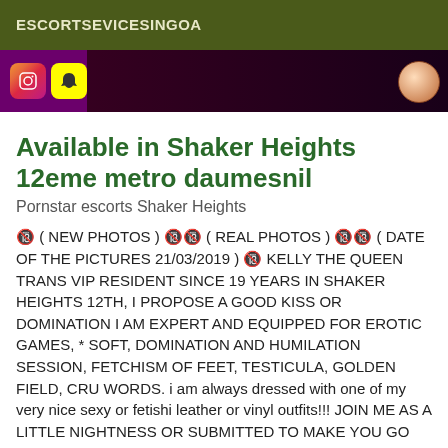ESCORTSEVICESINGOA
[Figure (photo): Banner image with purple background, Instagram and Snapchat icons on the left, dark overlay in center, and a circular portrait on the right]
Available in Shaker Heights 12eme metro daumesnil
Pornstar escorts Shaker Heights
🔞 ( NEW PHOTOS ) 🔞🔞 ( REAL PHOTOS ) 🔞🔞 ( DATE OF THE PICTURES 21/03/2019 ) 🔞 KELLY THE QUEEN TRANS VIP RESIDENT SINCE 19 YEARS IN SHAKER HEIGHTS 12TH, I PROPOSE A GOOD KISS OR DOMINATION I AM EXPERT AND EQUIPPED FOR EROTIC GAMES, * SOFT, DOMINATION AND HUMILATION SESSION, FETCHISM OF FEET, TESTICULA, GOLDEN FIELD, CRU WORDS. i am always dressed with one of my very nice sexy or fetishi leather or vinyl outfits!!! JOIN ME AS A LITTLE NIGHTNESS OR SUBMITTED TO MAKE YOU GO THROUGH ME AT PARTICULAR MOMENTS, ALSO